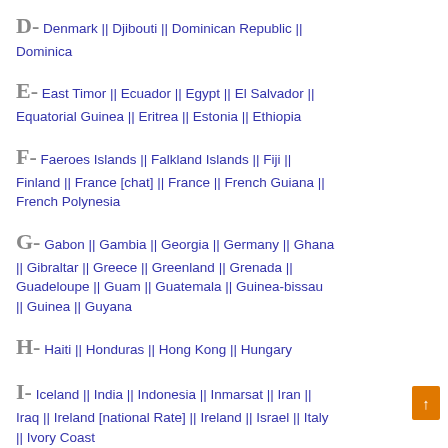D- Denmark || Djibouti || Dominican Republic || Dominica
E- East Timor || Ecuador || Egypt || El Salvador || Equatorial Guinea || Eritrea || Estonia || Ethiopia
F- Faeroes Islands || Falkland Islands || Fiji || Finland || France [chat] || France || French Guiana || French Polynesia
G- Gabon || Gambia || Georgia || Germany || Ghana || Gibraltar || Greece || Greenland || Grenada || Guadeloupe || Guam || Guatemala || Guinea-bissau || Guinea || Guyana
H- Haiti || Honduras || Hong Kong || Hungary
I- Iceland || India || Indonesia || Inmarsat || Iran || Iraq || Ireland [national Rate] || Ireland || Israel || Italy || Ivory Coast
J- Jamaica || Japan || Jordan